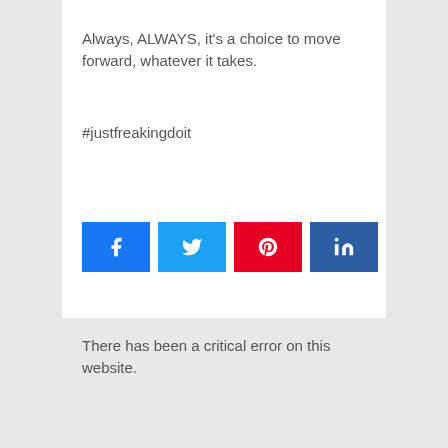Always, ALWAYS, it's a choice to move forward, whatever it takes.
#justfreakingdoit
[Figure (infographic): Four social share buttons: Facebook (blue), Twitter (light blue), Pinterest (red), LinkedIn (dark blue) with respective icons]
There has been a critical error on this website.